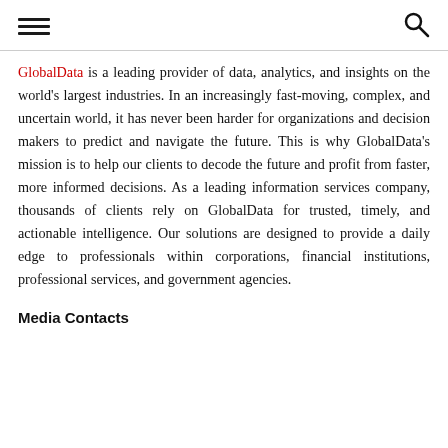[hamburger menu icon] [search icon]
GlobalData is a leading provider of data, analytics, and insights on the world's largest industries. In an increasingly fast-moving, complex, and uncertain world, it has never been harder for organizations and decision makers to predict and navigate the future. This is why GlobalData's mission is to help our clients to decode the future and profit from faster, more informed decisions. As a leading information services company, thousands of clients rely on GlobalData for trusted, timely, and actionable intelligence. Our solutions are designed to provide a daily edge to professionals within corporations, financial institutions, professional services, and government agencies.
Media Contacts